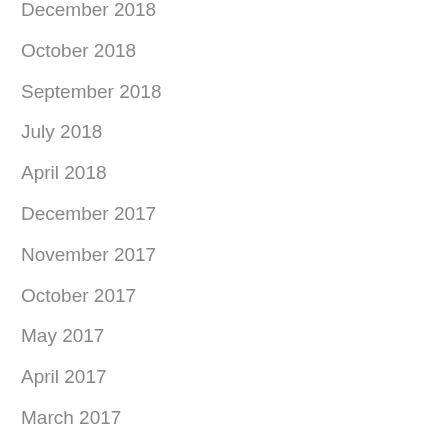December 2018
October 2018
September 2018
July 2018
April 2018
December 2017
November 2017
October 2017
May 2017
April 2017
March 2017
January 2017
December 2016
October 2016